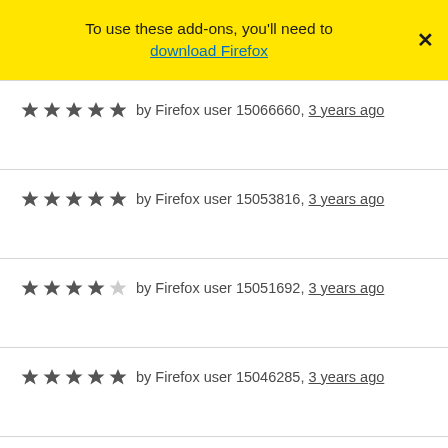To use these add-ons, you'll need to download Firefox
★★★★★ by Firefox user 15066660, 3 years ago
★★★★★ by Firefox user 15053816, 3 years ago
★★★★☆ by Firefox user 15051692, 3 years ago
★★★★★ by Firefox user 15046285, 3 years ago
★★★★★ by Firefox user 15044457, 3 years ago
★★★☆☆ by ARIS, 3 years ago